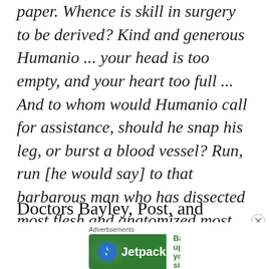paper. Whence is skill in surgery to be derived? Kind and generous Humanio ... your head is too empty, and your heart too full ... And to whom would Humanio call for assistance, should he snap his leg, or burst a blood vessel? Run, run [he would say] to that barbarous man who has dissected most flesh and anatomized most bones.
Doctors Bayley, Post, and McKnight
[Figure (other): Jetpack advertisement banner with logo and 'Back up your site' button on green background]